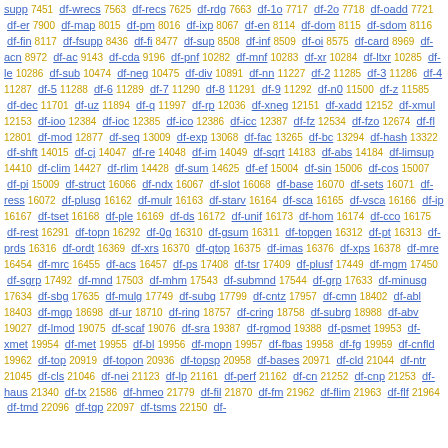supp 7451 df-wrecs 7563 df-recs 7625 df-rdg 7663 df-1o 7717 df-2o 7718 df-oadd 7721 df-er 7900 df-map 8015 df-pm 8016 df-ixp 8067 df-en 8114 df-dom 8115 df-sdom 8116 df-fin 8117 df-fsupp 8436 df-fi 8477 df-sup 8508 df-inf 8509 df-oi 8575 df-card 8969 df-acn 8972 df-ac 9143 df-cda 9196 df-pnf 10282 df-mnf 10283 df-xr 10284 df-ltxr 10285 df-le 10286 df-sub 10474 df-neg 10475 df-div 10891 df-nn 11227 df-2 11285 df-3 11286 df-4 11287 df-5 11288 df-6 11289 df-7 11290 df-8 11291 df-9 11292 df-n0 11500 df-z 11585 df-dec 11701 df-uz 11894 df-q 11997 df-rp 12036 df-xneg 12151 df-xadd 12152 df-xmul 12153 df-ioo 12384 df-ioc 12385 df-ico 12386 df-icc 12387 df-fz 12534 df-fzo 12674 df-fl 12801 df-mod 12877 df-seq 13009 df-exp 13068 df-fac 13265 df-bc 13294 df-hash 13322 df-shft 14015 df-cj 14047 df-re 14048 df-im 14049 df-sqrt 14183 df-abs 14184 df-limsup 14410 df-clim 14427 df-rlim 14428 df-sum 14625 df-ef 15004 df-sin 15006 df-cos 15007 df-pi 15009 df-struct 16066 df-ndx 16067 df-slot 16068 df-base 16070 df-sets 16071 df-ress 16072 df-plusg 16162 df-mulr 16163 df-starv 16164 df-sca 16165 df-vsca 16166 df-ip 16167 df-tset 16168 df-ple 16169 df-ds 16172 df-unif 16173 df-hom 16174 df-cco 16175 df-rest 16291 df-topn 16292 df-0g 16310 df-gsum 16311 df-topgen 16312 df-pt 16313 df-prds 16316 df-ordt 16369 df-xrs 16370 df-qtop 16375 df-imas 16376 df-xps 16378 df-mre 16454 df-mrc 16455 df-acs 16457 df-ps 17408 df-tsr 17409 df-plusf 17449 df-mgm 17450 df-sgrp 17492 df-mnd 17503 df-mhm 17543 df-submnd 17544 df-grp 17633 df-minusg 17634 df-sbg 17635 df-mulg 17749 df-subg 17799 df-cntz 17957 df-cmn 18402 df-abl 18403 df-mgp 18698 df-ur 18710 df-ring 18757 df-cring 18758 df-subrg 18988 df-abv 19027 df-lmod 19075 df-scaf 19076 df-sra 19387 df-rgmod 19388 df-psmet 19953 df-xmet 19954 df-met 19955 df-bl 19956 df-mopn 19957 df-fbas 19958 df-fg 19959 df-cnfld 19962 df-top 20919 df-topon 20936 df-topsp 20958 df-bases 20971 df-cld 21044 df-ntr 21045 df-cls 21046 df-nei 21123 df-lp 21161 df-perf 21162 df-cn 21252 df-cnp 21253 df-haus 21340 df-tx 21586 df-hmeo 21779 df-fil 21870 df-fm 21962 df-flim 21963 df-flf 21964 df-tmd 22096 df-tgp 22097 df-tsms 22150 df-...